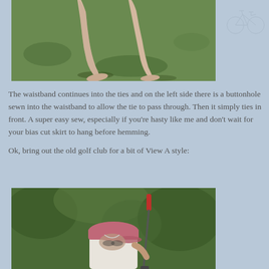[Figure (photo): Photo of person's legs walking on green grass, barefoot or in nude shoes, outdoor setting]
[Figure (illustration): Small faint sketch/logo of a bicycle in the upper right corner]
The waistband continues into the ties and on the left side there is a buttonhole sewn into the waistband to allow the tie to pass through. Then it simply ties in front. A super easy sew, especially if you're hasty like me and don't wait for your bias cut skirt to hang before hemming.
Ok, bring out the old golf club for a bit of View A style:
[Figure (photo): Person wearing a pink baseball cap and white top, holding a red-topped golf club, with green leafy background]